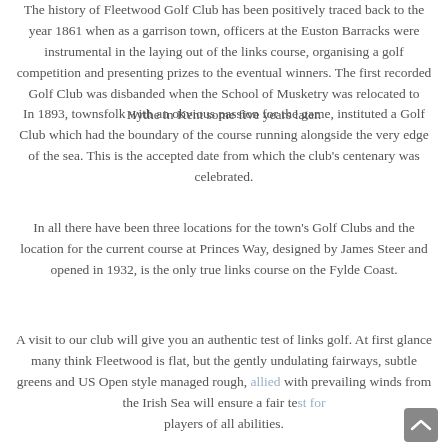The history of Fleetwood Golf Club has been positively traced back to the year 1861 when as a garrison town, officers at the Euston Barracks were instrumental in the laying out of the links course, organising a golf competition and presenting prizes to the eventual winners. The first recorded Golf Club was disbanded when the School of Musketry was relocated to Hythe in Kent some five years later.
In 1893, townsfolk with an obvious passion for the game, instituted a Golf Club which had the boundary of the course running alongside the very edge of the sea. This is the accepted date from which the club's centenary was celebrated.
In all there have been three locations for the town's Golf Clubs and the location for the current course at Princes Way, designed by James Steer and opened in 1932, is the only true links course on the Fylde Coast.
A visit to our club will give you an authentic test of links golf. At first glance many think Fleetwood is flat, but the gently undulating fairways, subtle greens and US Open style managed rough, allied with prevailing winds from the Irish Sea will ensure a fair test for players of all abilities.